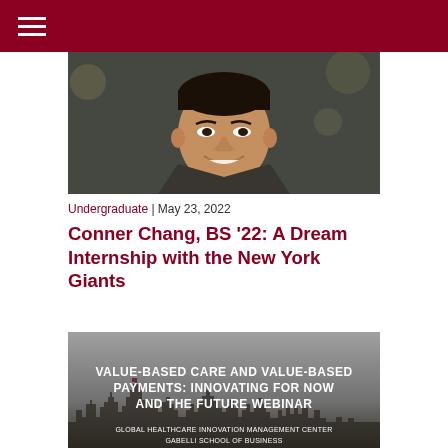[Figure (photo): Portrait photo of Conner Chang smiling, young Asian man in a dark jacket, nighttime outdoor background]
Undergraduate | May 23, 2022
Conner Chang, BS '22: A Dream Internship with the New York Giants
[Figure (other): Promotional banner for 'Value-Based Care and Value-Based Payments: Innovating for Now and the Future Webinar' by Global Healthcare Innovation Management Center, Gabelli School of Business, with a city skyline background]